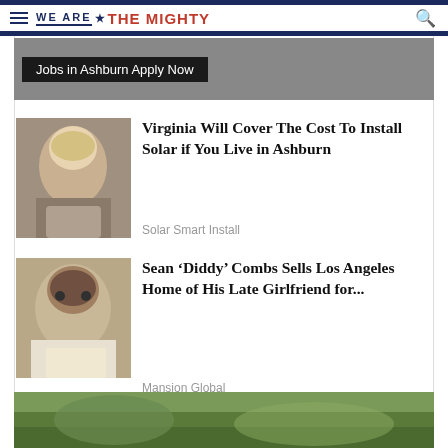WE ARE ★ THE MIGHTY
[Figure (screenshot): Advertisement banner with dark background showing text 'Jobs in Ashburn Apply Now']
[Figure (photo): Photo of a blonde woman speaking at a podium with microphones]
Virginia Will Cover The Cost To Install Solar if You Live in Ashburn
Solar Smart Install
[Figure (photo): Photo of Sean 'Diddy' Combs wearing sunglasses]
Sean 'Diddy' Combs Sells Los Angeles Home of His Late Girlfriend for...
Mansion Global
[Figure (photo): Partial bottom image showing outdoor/nature scene]